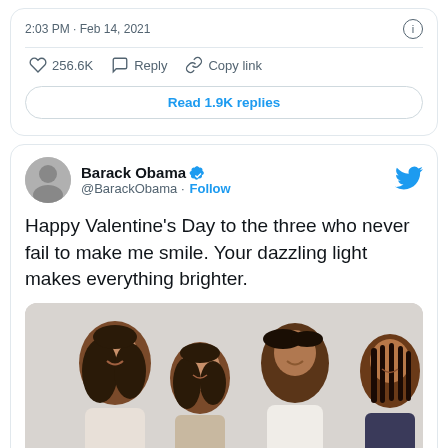2:03 PM · Feb 14, 2021
256.6K  Reply  Copy link
Read 1.9K replies
Barack Obama @BarackObama · Follow
Happy Valentine's Day to the three who never fail to make me smile. Your dazzling light makes everything brighter.
[Figure (photo): Family photo of Barack Obama with Michelle Obama, and their two daughters, smiling together against a light background.]